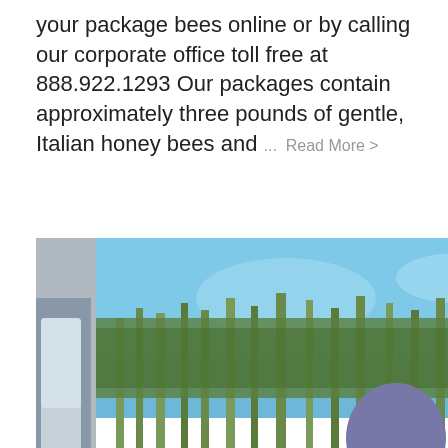your package bees online or by calling our corporate office toll free at 888.922.1293 Our packages contain approximately three pounds of gentle, Italian honey bees and ... Read More >
[Figure (photo): Two beekeepers in protective gear (white suits and gloves) holding up a wooden honeycomb frame covered in bees, outdoors near tall trees under a blue sky, with a vehicle visible on the left side.]